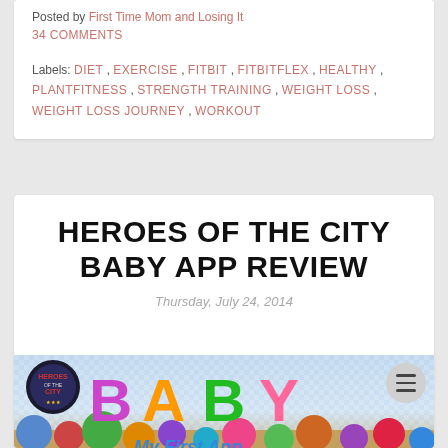Posted by First Time Mom and Losing It
34 COMMENTS
Labels: DIET , EXERCISE , FITBIT , FITBITFLEX , HEALTHY , PLANTFITNESS , STRENGTH TRAINING , WEIGHT LOSS , WEIGHT LOSS JOURNEY , WORKOUT
HEROES OF THE CITY BABY APP REVIEW
Thursday, July 24, 2014
[Figure (illustration): Heroes of the City Baby app promotional banner showing colorful BABY text with 'My First App' subtitle, Heroes of the City logo badge on the left, colorful bubble characters along the bottom on a checkered blue background]